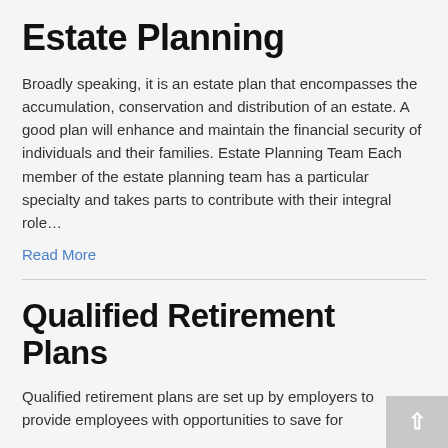Estate Planning
Broadly speaking, it is an estate plan that encompasses the accumulation, conservation and distribution of an estate. A good plan will enhance and maintain the financial security of individuals and their families. Estate Planning Team Each member of the estate planning team has a particular specialty and takes parts to contribute with their integral role…
Read More
Qualified Retirement Plans
Qualified retirement plans are set up by employers to provide employees with opportunities to save for